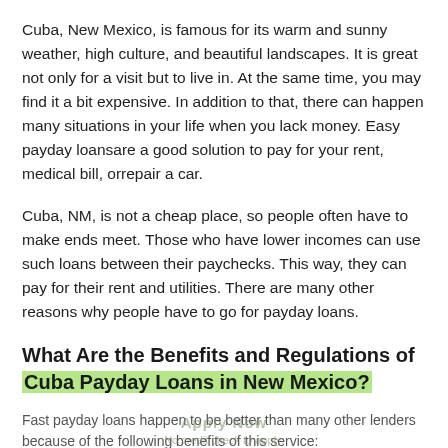Cuba, New Mexico, is famous for its warm and sunny weather, high culture, and beautiful landscapes. It is great not only for a visit but to live in. At the same time, you may find it a bit expensive. In addition to that, there can happen many situations in your life when you lack money. Easy payday loansare a good solution to pay for your rent, medical bill, orrepair a car.
Cuba, NM, is not a cheap place, so people often have to make ends meet. Those who have lower incomes can use such loans between their paychecks. This way, they can pay for their rent and utilities. There are many other reasons why people have to go for payday loans.
What Are the Benefits and Regulations of Cuba Payday Loans in New Mexico?
Fast payday loans happen to be better than many other lenders because of the following benefits of this service: